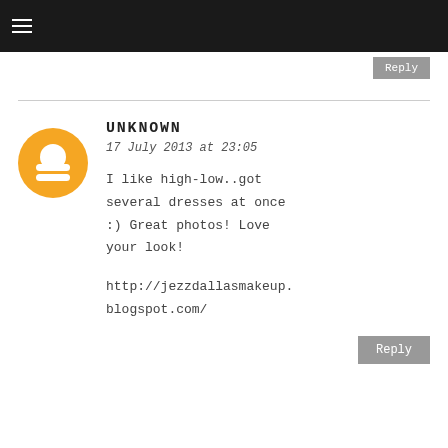≡
Reply
UNKNOWN
17 July 2013 at 23:05
I like high-low..got several dresses at once :) Great photos! Love your look!

http://jezzdallasmakeup.blogspot.com/
Reply